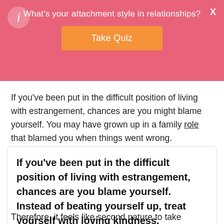What's your attachment style in relationships? Take Quiz
If you've been put in the difficult position of living with estrangement, chances are you might blame yourself. You may have grown up in a family role that blamed you when things went wrong.
If you've been put in the difficult position of living with estrangement, chances are you blame yourself. Instead of beating yourself up, treat yourself with loving kindness. CLICK TO TWEET
Therefore, it feels like second nature to take